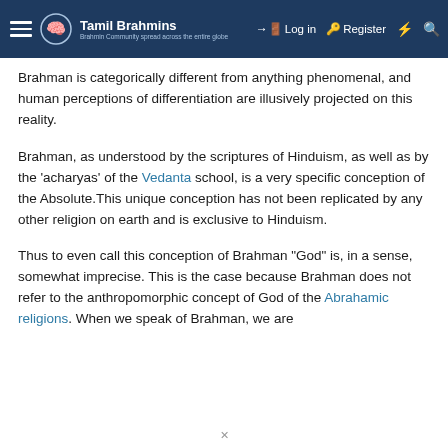Tamil Brahmins — Log in | Register
Brahman is categorically different from anything phenomenal, and human perceptions of differentiation are illusively projected on this reality.
Brahman, as understood by the scriptures of Hinduism, as well as by the 'acharyas' of the Vedanta school, is a very specific conception of the Absolute.This unique conception has not been replicated by any other religion on earth and is exclusive to Hinduism.
Thus to even call this conception of Brahman "God" is, in a sense, somewhat imprecise. This is the case because Brahman does not refer to the anthropomorphic concept of God of the Abrahamic religions. When we speak of Brahman, we are